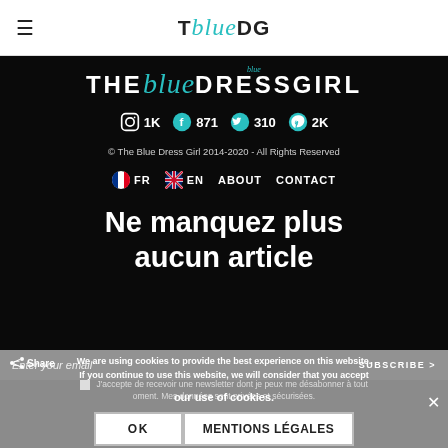☰  TblueDG
[Figure (logo): The Blue Dress Girl logo with teal cursive 'blue' text on black background, with social counts: Instagram 1K, Facebook 871, Twitter 310, Pinterest 2K]
© The Blue Dress Girl 2014-2020 - All Rights Reserved
FR  EN  ABOUT  CONTACT
Ne manquez plus aucun article
Enter your email
SUBSCRIBE >
We are using cookies to provide the best experience on this website. If you continue to use this website, we will consider that you accept our use of cookies.
J'accepte de recevoir une newsletter dont je peux me désabonner à tout oment. Mes données sont privées et sécurisées.
Share
OK
MENTIONS LÉGALES